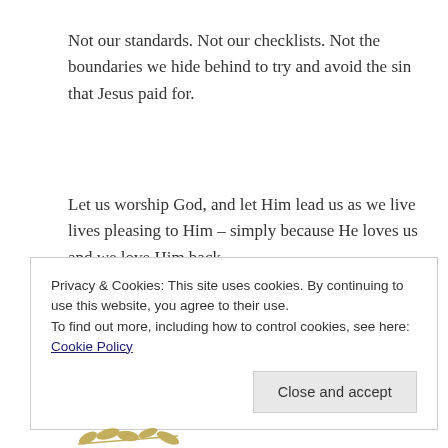Not our standards. Not our checklists. Not the boundaries we hide behind to try and avoid the sin that Jesus paid for.
Let us worship God, and let Him lead us as we live lives pleasing to Him – simply because He loves us and we love Him back.
Privacy & Cookies: This site uses cookies. By continuing to use this website, you agree to their use.
To find out more, including how to control cookies, see here: Cookie Policy
Close and accept